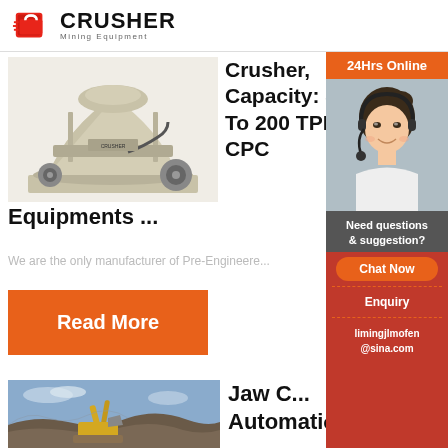CRUSHER Mining Equipment
[Figure (photo): Industrial cone crusher machine, beige/cream colored]
Crusher, Capacity: 8 To 200 TPH, CPC
Equipments ...
We are the only manufacturer of Pre-Engineere...
Read More
[Figure (photo): Excavator working at a rocky quarry/mining site]
Jaw Crusher, Automatic
[Figure (photo): 24Hrs Online support agent - woman with headset smiling]
24Hrs Online
Need questions & suggestion?
Chat Now
Enquiry
limingjlmofen@sina.com